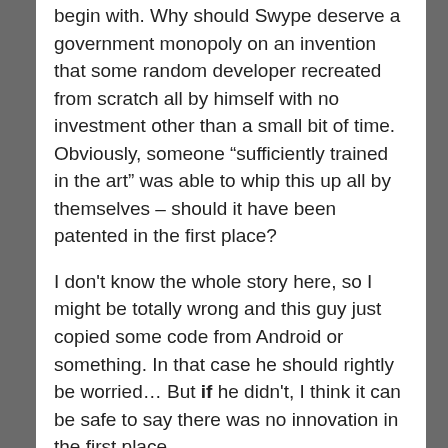begin with. Why should Swype deserve a government monopoly on an invention that some random developer recreated from scratch all by himself with no investment other than a small bit of time. Obviously, someone “sufficiently trained in the art” was able to whip this up all by themselves – should it have been patented in the first place?
I don't know the whole story here, so I might be totally wrong and this guy just copied some code from Android or something. In that case he should rightly be worried… But if he didn't, I think it can be safe to say there was no innovation in the first place.
Patents are not supposed to protect ideas or concepts, they are legal constructs granted to inventors for their inventions (the result of